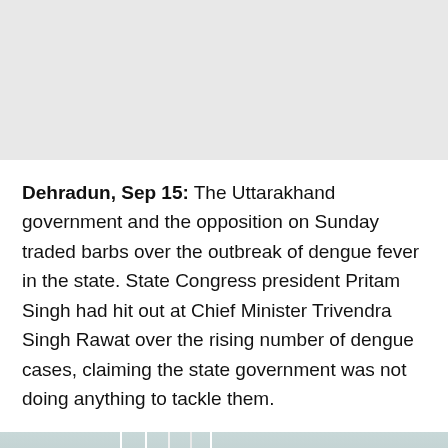Dehradun, Sep 15: The Uttarakhand government and the opposition on Sunday traded barbs over the outbreak of dengue fever in the state. State Congress president Pritam Singh had hit out at Chief Minister Trivendra Singh Rawat over the rising number of dengue cases, claiming the state government was not doing anything to tackle them.
[Figure (photo): Hospital room scene showing IV drip lines hanging down, a bed with patient, a woman in purple floral clothing at the right, and medical supplies/clutter on a table. Tiled walls with a dark green stripe along the top.]